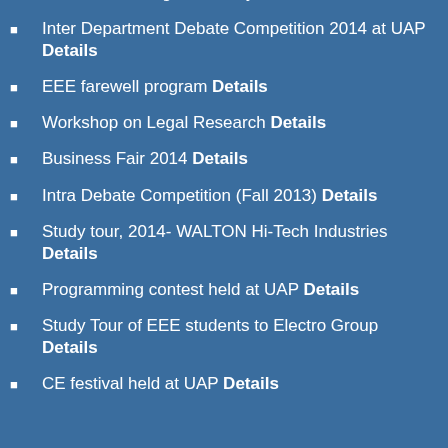BBA Prize Giving Ceremony Details
Inter Department Debate Competition 2014 at UAP Details
EEE farewell program Details
Workshop on Legal Research Details
Business Fair 2014 Details
Intra Debate Competition (Fall 2013) Details
Study tour, 2014- WALTON Hi-Tech Industries Details
Programming contest held at UAP Details
Study Tour of EEE students to Electro Group Details
CE festival held at UAP Details